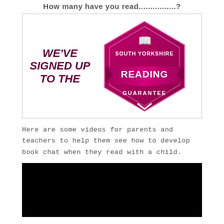How many have you read................?
[Figure (logo): South Yorkshire Reading Guarantee badge/logo with text 'WE'VE SIGNED UP TO THE SOUTH YORKSHIRE READING GUARANTEE']
Here are some videos for parents and teachers to help them see how to develop book chat when they read with a child.
[Figure (screenshot): Black video player rectangle]